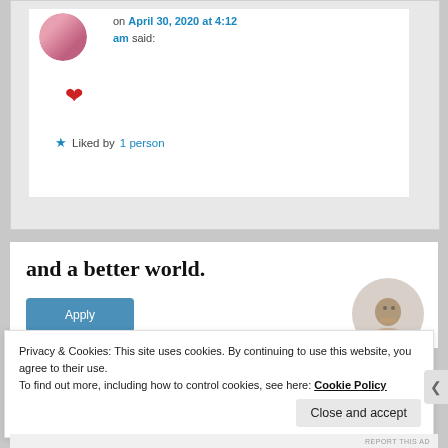on April 30, 2020 at 4:12 am said:
[Figure (other): Red heart emoji/symbol in a comment]
★ Liked by 1 person
and a better world.
[Figure (other): Apply button (blue) and circular portrait photo of a man with glasses]
Privacy & Cookies: This site uses cookies. By continuing to use this website, you agree to their use.
To find out more, including how to control cookies, see here: Cookie Policy
Close and accept